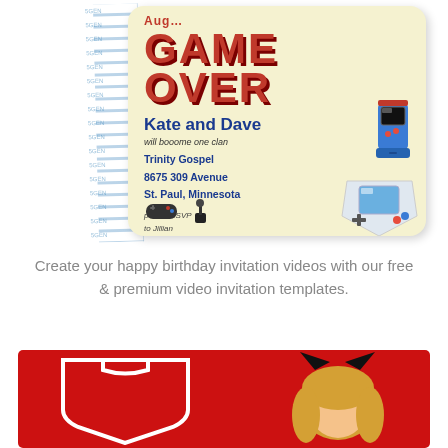[Figure (illustration): A video game themed wedding invitation card with 'GAME OVER' in large red pixel-style text, names 'Kate and Dave', venue Trinity Gospel, 8675 309 Avenue, St. Paul, Minnesota, RSVP info, and game icons (arcade cabinet, Game Boy, joystick). A torn tape strip decorates the left side.]
Create your happy birthday invitation videos with our free & premium video invitation templates.
[Figure (photo): A red background image with a white shield/frame shape on the left and a cartoon character with blonde hair and cat ears on the right.]